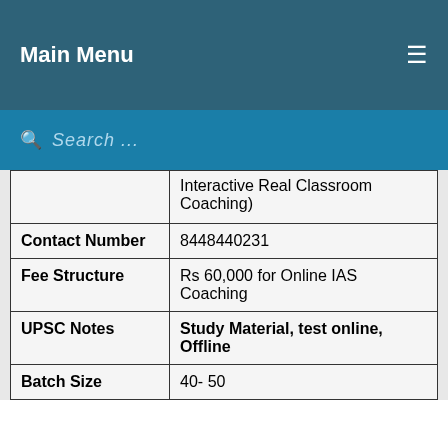Main Menu
| Field | Value |
| --- | --- |
|  | Interactive Real Classroom Coaching) |
| Contact Number | 8448440231 |
| Fee Structure | Rs 60,000 for Online IAS Coaching |
| UPSC Notes | Study Material, test online, Offline |
| Batch Size | 40- 50 |